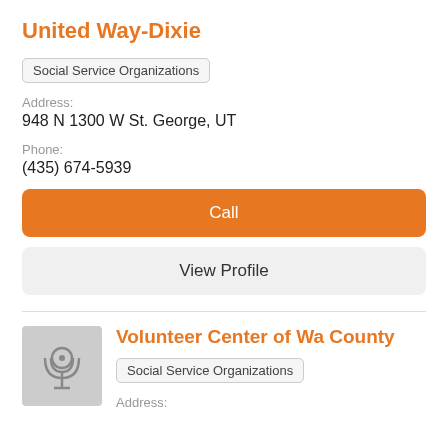United Way-Dixie
Social Service Organizations
Address:
948 N 1300 W St. George, UT
Phone:
(435) 674-5939
Call
View Profile
[Figure (illustration): Organization placeholder icon with podcast/broadcast signal symbol on gray background]
Volunteer Center of Wa County
Social Service Organizations
Address: